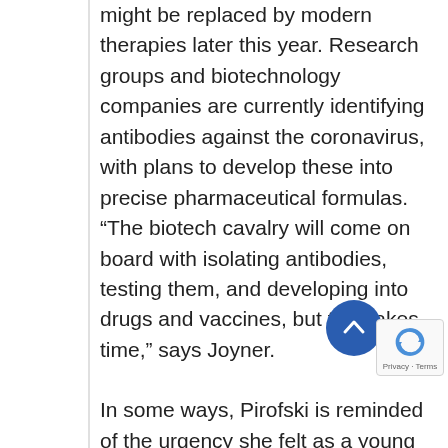might be replaced by modern therapies later this year. Research groups and biotechnology companies are currently identifying antibodies against the coronavirus, with plans to develop these into precise pharmaceutical formulas. “The biotech cavalry will come on board with isolating antibodies, testing them, and developing into drugs and vaccines, but that takes time,” says Joyner.
In some ways, Pirofski is reminded of the urgency she felt as a young doctor at the start of the HIV epidemic in the early 1980s. “I met with medical residents last week, and they are so frightened of this disease, and they don’t enough protective equipment, and they a getting sick or are worried about getting sick,